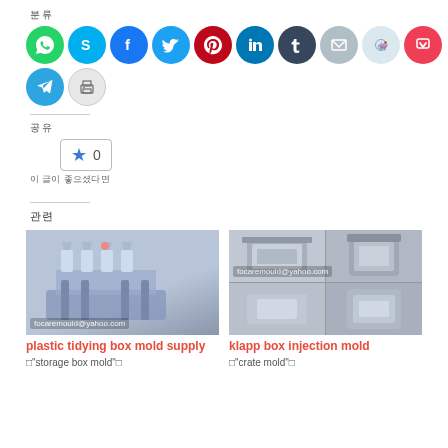분류
[Figure (infographic): Social sharing buttons row including WhatsApp, Skype, Facebook, Twitter, Pinterest, LinkedIn, Tumblr, Email, Reddit, Pocket, Telegram, Print]
공유
[Figure (infographic): Like/star button with count 0]
이 글이 좋으셨다면
관련
[Figure (photo): plastic tidying box mold supply - 3D model image with focaremould@yahoo.com watermark]
plastic tidying box mold supply
□"storage box mold"□
[Figure (photo): klapp box injection mold - metal mold photos with focaremould@yahoo.com watermark]
klapp box injection mold
□"crate mold"□